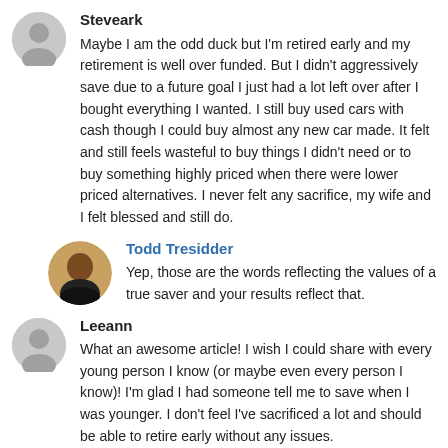Steveark
Maybe I am the odd duck but I'm retired early and my retirement is well over funded. But I didn't aggressively save due to a future goal I just had a lot left over after I bought everything I wanted. I still buy used cars with cash though I could buy almost any new car made. It felt and still feels wasteful to buy things I didn't need or to buy something highly priced when there were lower priced alternatives. I never felt any sacrifice, my wife and I felt blessed and still do.
Todd Tresidder
Yep, those are the words reflecting the values of a true saver and your results reflect that.
Leeann
What an awesome article! I wish I could share with every young person I know (or maybe even every person I know)! I'm glad I had someone tell me to save when I was younger. I don't feel I've sacrificed a lot and should be able to retire early without any issues.